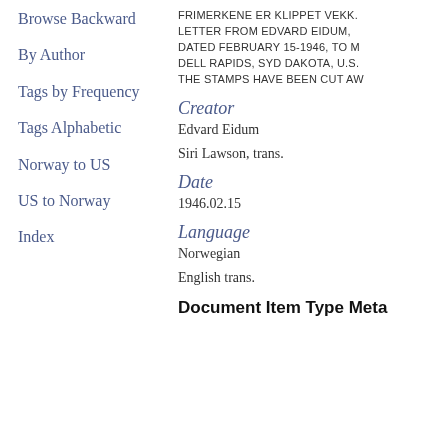Browse Backward
By Author
Tags by Frequency
Tags Alphabetic
Norway to US
US to Norway
Index
FRIMERKENE ER KLIPPET VEKK. LETTER FROM EDVARD EIDUM, DATED FEBRUARY 15-1946, TO M DELL RAPIDS, SYD DAKOTA, U.S. THE STAMPS HAVE BEEN CUT AW
Creator
Edvard Eidum
Siri Lawson, trans.
Date
1946.02.15
Language
Norwegian
English trans.
Document Item Type Meta